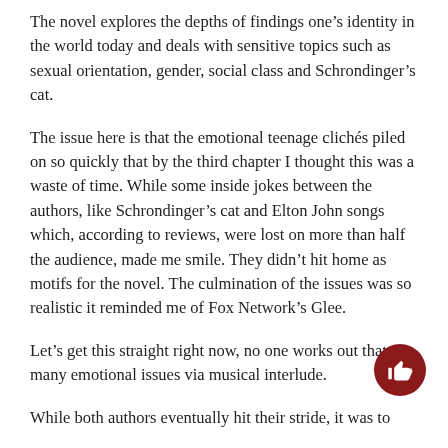The novel explores the depths of findings one’s identity in the world today and deals with sensitive topics such as sexual orientation, gender, social class and Schrondinger’s cat.
The issue here is that the emotional teenage clichés piled on so quickly that by the third chapter I thought this was a waste of time. While some inside jokes between the authors, like Schrondinger’s cat and Elton John songs which, according to reviews, were lost on more than half the audience, made me smile. They didn’t hit home as motifs for the novel. The culmination of the issues was so realistic it reminded me of Fox Network’s Glee.
Let’s get this straight right now, no one works out that many emotional issues via musical interlude.
While both authors eventually hit their stride, it was t…